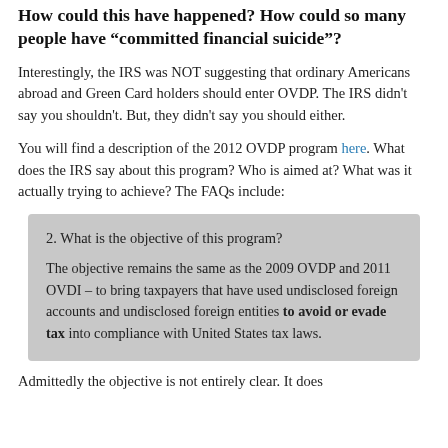How could this have happened? How could so many people have “committed financial suicide”?
Interestingly, the IRS was NOT suggesting that ordinary Americans abroad and Green Card holders should enter OVDP. The IRS didn't say you shouldn't. But, they didn't say you should either.
You will find a description of the 2012 OVDP program here. What does the IRS say about this program? Who is aimed at? What was it actually trying to achieve? The FAQs include:
2. What is the objective of this program?

The objective remains the same as the 2009 OVDP and 2011 OVDI – to bring taxpayers that have used undisclosed foreign accounts and undisclosed foreign entities to avoid or evade tax into compliance with United States tax laws.
Admittedly the objective is not entirely clear. It does